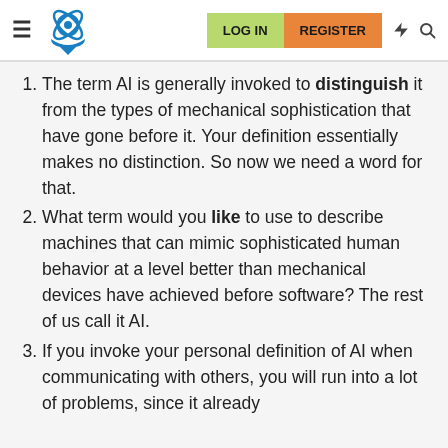LOG IN  REGISTER
The term AI is generally invoked to distinguish it from the types of mechanical sophistication that have gone before it. Your definition essentially makes no distinction. So now we need a word for that.
What term would you like to use to describe machines that can mimic sophisticated human behavior at a level better than mechanical devices have achieved before software? The rest of us call it AI.
If you invoke your personal definition of AI when communicating with others, you will run into a lot of problems, since it already